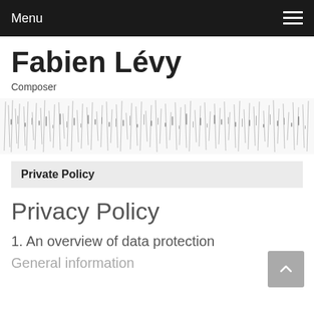Menu
Fabien Lévy
Composer
[Figure (illustration): Horizontal banner image with abstract black-and-white textured pattern resembling sheet music or foliage]
Private Policy
Privacy Policy
1. An overview of data protection
General information